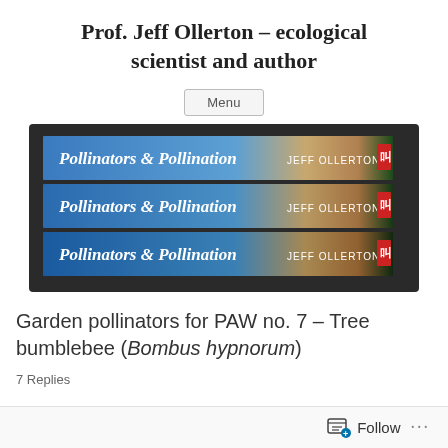Prof. Jeff Ollerton – ecological scientist and author
Menu
[Figure (photo): Three copies of the book 'Pollinators & Pollination' by Jeff Ollerton, stacked horizontally showing their spines, with a dark background. Each spine shows the title in white serif text and author name 'JEFF OLLERTON' with a red publisher logo.]
Garden pollinators for PAW no. 7 – Tree bumblebee (Bombus hypnorum)
7 Replies
Follow ...